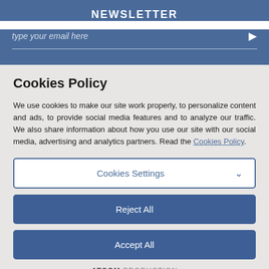NEWSLETTER
type your email here
Cookies Policy
We use cookies to make our site work properly, to personalize content and ads, to provide social media features and to analyze our traffic. We also share information about how you use our site with our social media, advertising and analytics partners. Read the Cookies Policy.
Cookies Settings
Reject All
Accept All
ATCOM PRODUCTION